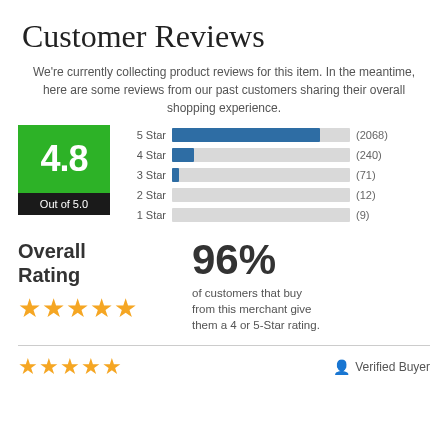Customer Reviews
We're currently collecting product reviews for this item. In the meantime, here are some reviews from our past customers sharing their overall shopping experience.
[Figure (bar-chart): Star Rating Distribution]
Overall Rating
96% of customers that buy from this merchant give them a 4 or 5-Star rating.
Verified Buyer